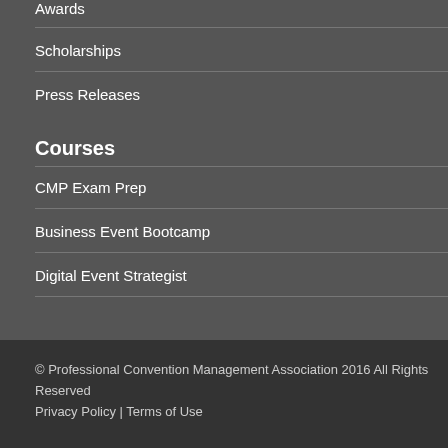Awards
Scholarships
Press Releases
Courses
CMP Exam Prep
Business Event Bootcamp
Digital Event Strategist
© Professional Convention Management Association 2016 All Rights Reserved
Privacy Policy | Terms of Use